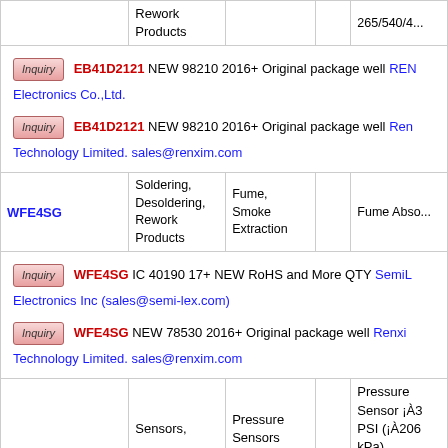| Part | Category | Sub-category |  | Description |
| --- | --- | --- | --- | --- |
|  | Rework Products |  |  | 265/540/4... |
| EB41D2121 (inquiry) | EB41D2121 NEW 98210 2016+ Original package well REN... Electronics Co.,Ltd. |  |  |  |
| EB41D2121 (inquiry2) | EB41D2121 NEW 98210 2016+ Original package well Ren... Technology Limited. sales@renxim.com |  |  |  |
| WFE4SG | Soldering, Desoldering, Rework Products | Fume, Smoke Extraction |  | Fume Abso... |
| WFE4SG (inquiry) | WFE4SG IC 40190 17+ NEW RoHS and More QTY SemiL... Electronics Inc (sales@semi-lex.com) |  |  |  |
| WFE4SG (inquiry2) | WFE4SG NEW 78530 2016+ Original package well Renxi... Technology Limited. sales@renxim.com |  |  |  |
| PRT0300DEW5VA | Sensors, | Pressure Sensors |  | Pressure Sensor ¡À3 PSI (¡À206 kPa) Differential |